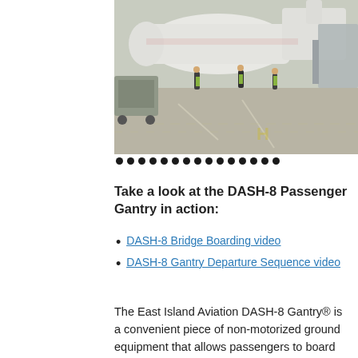[Figure (photo): Aerial/elevated view of airport tarmac showing ground crew in yellow vests working around an aircraft, with ground support equipment visible. Image has a row of navigation dots below it indicating a slideshow.]
Take a look at the DASH-8 Passenger Gantry in action:
DASH-8 Bridge Boarding video
DASH-8 Gantry Departure Sequence video
The East Island Aviation DASH-8 Gantry® is a convenient piece of non-motorized ground equipment that allows passengers to board